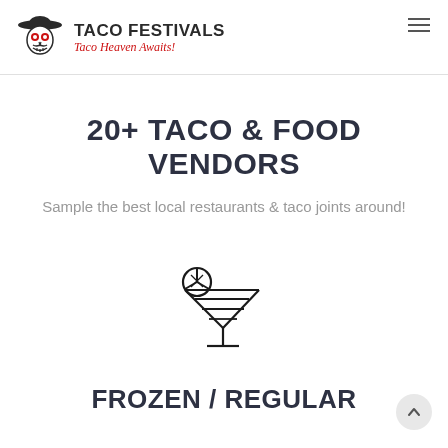TACO FESTIVALS — Taco Heaven Awaits!
20+ TACO & FOOD VENDORS
Sample the best local restaurants & taco joints around!
[Figure (illustration): Margarita cocktail glass icon with a lime wedge, drawn in black outline style]
FROZEN / REGULAR